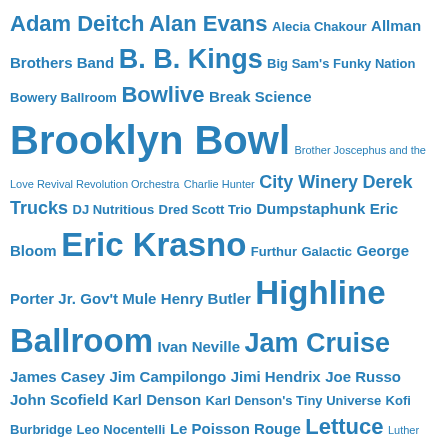[Figure (infographic): A tag cloud / word cloud of music artists and venues rendered in varying font sizes in blue. Larger text indicates higher frequency/prominence. Items include: Adam Deitch, Alan Evans, Alecia Chakour, Allman Brothers Band, B.B. Kings, Big Sam's Funky Nation, Bowery Ballroom, Bowlive, Break Science, Brooklyn Bowl, Brother Joscephus and the Love Revival Revolution Orchestra, Charlie Hunter, City Winery, Derek Trucks, DJ Nutritious, Dred Scott Trio, Dumpstaphunk, Eric Bloom, Eric Krasno, Furthur, Galactic, George Porter Jr., Gov't Mule, Henry Butler, Highline Ballroom, Ivan Neville, Jam Cruise, James Casey, Jim Campilongo, Jimi Hendrix, Joe Russo, John Scofield, Karl Denson, Karl Denson's Tiny Universe, Kofi Burbridge, Leo Nocentelli, Le Poisson Rouge, Lettuce, Luther Dickinson, Madison Square Garden, Marco Benevento, Mark Guiliana, Mercury Lounge, Neal Evans, New Orleans, Nigel Hall, North Mississippi Allstars]